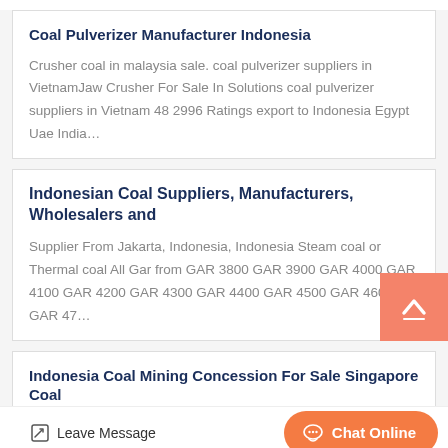Coal Pulverizer Manufacturer Indonesia
Crusher coal in malaysia sale. coal pulverizer suppliers in VietnamJaw Crusher For Sale In Solutions coal pulverizer suppliers in Vietnam 48 2996 Ratings export to Indonesia Egypt Uae India…
Indonesian Coal Suppliers, Manufacturers, Wholesalers and
Supplier From Jakarta, Indonesia, Indonesia Steam coal or Thermal coal All Gar from GAR 3800 GAR 3900 GAR 4000 GAR 4100 GAR 4200 GAR 4300 GAR 4400 GAR 4500 GAR 4600 GAR 47…
Indonesia Coal Mining Concession For Sale Singapore Coal
GEAR. We are principally engaged in the exploration, mining and
Leave Message   Chat Online